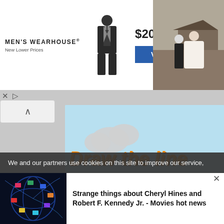[Figure (screenshot): Men's Wearhouse advertisement banner showing suit priced at $209.99 with a VIEW button]
[Figure (photo): Wedding photo showing a couple in formal attire]
[Figure (screenshot): Draw the Line game advertisement with cartoon plant character and text 'SAVE THE FLOWER']
We and our partners use cookies on this site to improve our service,
[Figure (photo): Thumbnail showing globe made of video screens]
Strange things about Cheryl Hines and Robert F. Kennedy Jr. - Movies hot news